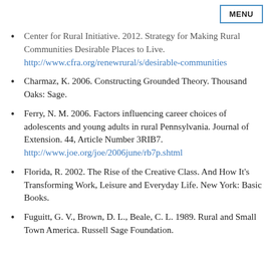MENU
Center for Rural Initiative. 2012. Strategy for Making Rural Communities Desirable Places to Live. http://www.cfra.org/renewrural/s/desirable-communities
Charmaz, K. 2006. Constructing Grounded Theory. Thousand Oaks: Sage.
Ferry, N. M. 2006. Factors influencing career choices of adolescents and young adults in rural Pennsylvania. Journal of Extension. 44, Article Number 3RIB7. http://www.joe.org/joe/2006june/rb7p.shtml
Florida, R. 2002. The Rise of the Creative Class. And How It's Transforming Work, Leisure and Everyday Life. New York: Basic Books.
Fuguitt, G. V., Brown, D. L., Beale, C. L. 1989. Rural and Small Town America. Russell Sage Foundation.